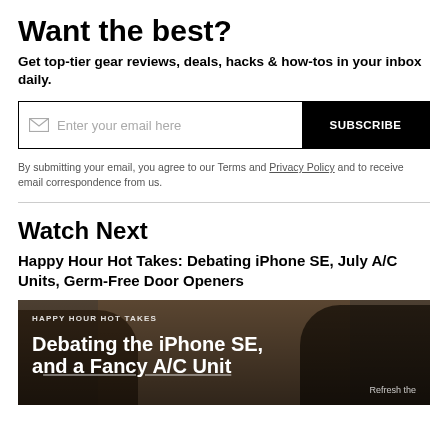Want the best?
Get top-tier gear reviews, deals, hacks & how-tos in your inbox daily.
By submitting your email, you agree to our Terms and Privacy Policy and to receive email correspondence from us.
Watch Next
Happy Hour Hot Takes: Debating iPhone SE, July A/C Units, Germ-Free Door Openers
[Figure (photo): Video thumbnail showing two people with overlay text 'HAPPY HOUR HOT TAKES' and 'Debating the iPhone SE, and a Fancy A/C Unit']